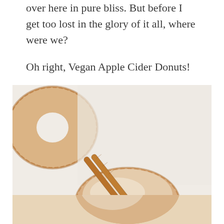over here in pure bliss. But before I get too lost in the glory of it all, where were we?
Oh right, Vegan Apple Cider Donuts!
[Figure (photo): Close-up food photography of glazed vegan apple cider donuts with cinnamon sticks on a light cream background. One donut visible in upper left, another in center-right foreground with two cinnamon sticks resting on top, showing the glazed surface texture.]